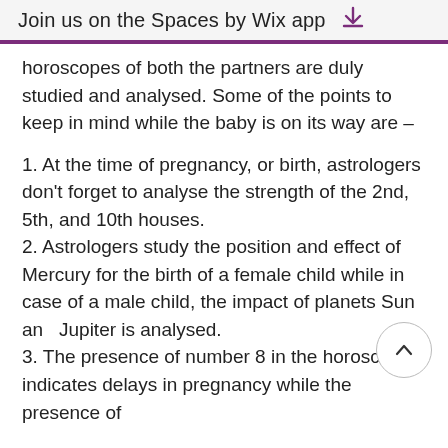Join us on the Spaces by Wix app
horoscopes of both the partners are duly studied and analysed. Some of the points to keep in mind while the baby is on its way are –
1. At the time of pregnancy, or birth, astrologers don't forget to analyse the strength of the 2nd, 5th, and 10th houses.
2. Astrologers study the position and effect of Mercury for the birth of a female child while in case of a male child, the impact of planets Sun and Jupiter is analysed.
3. The presence of number 8 in the horoscope indicates delays in pregnancy while the presence of